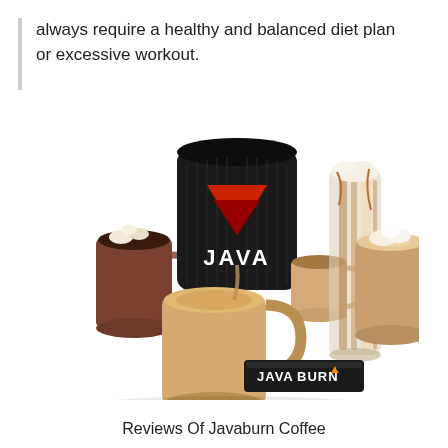always require a healthy and balanced diet plan or excessive workout.
[Figure (photo): Product photo showing Java Burn supplement container (black jar with red logo reading 'JAVA') surrounded by several glass mugs and cups of coffee beverages with froth and toppings, plus a Java Burn branded packet/stick in the foreground.]
Reviews Of Javaburn Coffee